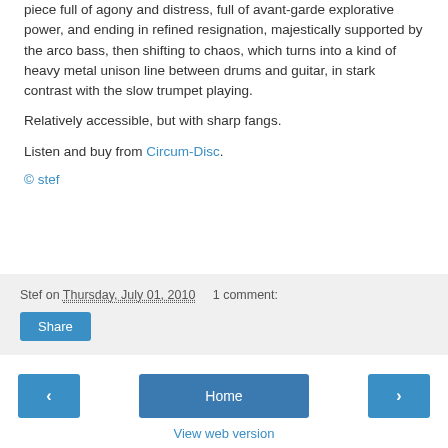piece full of agony and distress, full of avant-garde explorative power, and ending in refined resignation, majestically supported by the arco bass, then shifting to chaos, which turns into a kind of heavy metal unison line between drums and guitar, in stark contrast with the slow trumpet playing.
Relatively accessible, but with sharp fangs.
Listen and buy from Circum-Disc.
© stef
Stef on Thursday, July 01, 2010   1 comment:
Share
Home
View web version